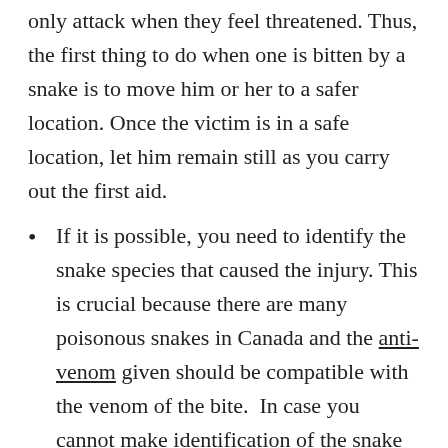only attack when they feel threatened. Thus, the first thing to do when one is bitten by a snake is to move him or her to a safer location. Once the victim is in a safe location, let him remain still as you carry out the first aid.
If it is possible, you need to identify the snake species that caused the injury. This is crucial because there are many poisonous snakes in Canada and the anti-venom given should be compatible with the venom of the bite.  In case you cannot make identification of the snake then you need to note the exact location where the snake bite occurred because this can give a clue of the types of